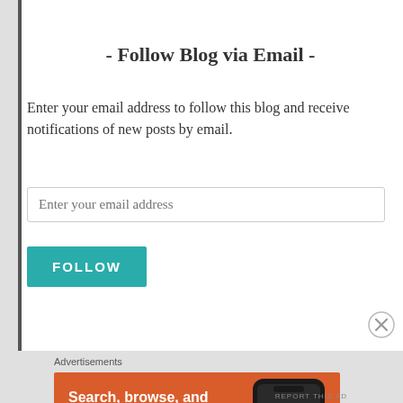- Follow Blog via Email -
Enter your email address to follow this blog and receive notifications of new posts by email.
Enter your email address
FOLLOW
Advertisements
[Figure (screenshot): DuckDuckGo advertisement banner with orange background showing phone mockup. Text reads: Search, browse, and email with more privacy. All in One Free App. DuckDuckGo logo.]